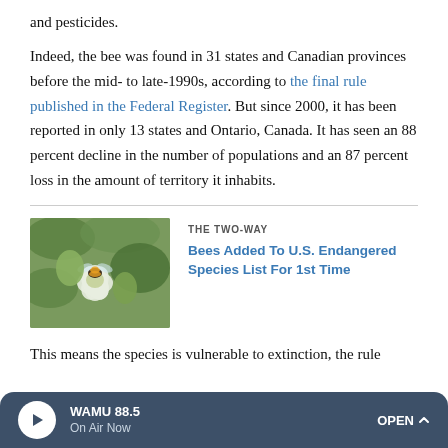and pesticides.
Indeed, the bee was found in 31 states and Canadian provinces before the mid- to late-1990s, according to the final rule published in the Federal Register. But since 2000, it has been reported in only 13 states and Ontario, Canada. It has seen an 88 percent decline in the number of populations and an 87 percent loss in the amount of territory it inhabits.
[Figure (photo): A bee on a white flower with green background]
THE TWO-WAY
Bees Added To U.S. Endangered Species List For 1st Time
This means the species is vulnerable to extinction, the rule
WAMU 88.5 — On Air Now — OPEN